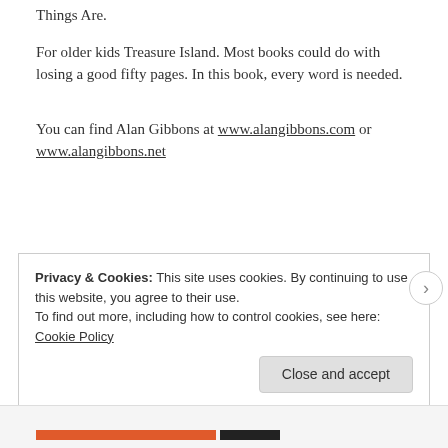Things Are.
For older kids Treasure Island. Most books could do with losing a good fifty pages. In this book, every word is needed.
You can find Alan Gibbons at www.alangibbons.com or www.alangibbons.net
Privacy & Cookies: This site uses cookies. By continuing to use this website, you agree to their use. To find out more, including how to control cookies, see here: Cookie Policy